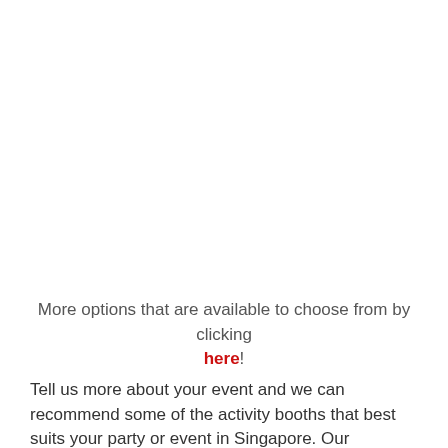More options that are available to choose from by clicking here!
Tell us more about your event and we can recommend some of the activity booths that best suits your party or event in Singapore. Our friendly in-house ambassador (Karben) can be contacted anytime available...